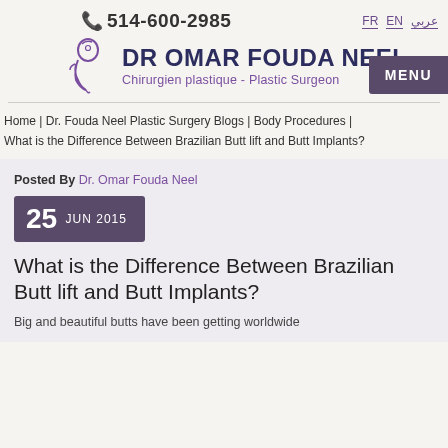514-600-2985  FR  EN  عربي
[Figure (logo): Dr. Omar Fouda Neel clinic logo with stylized face profile in purple]
DR OMAR FOUDA NEEL
Chirurgien plastique - Plastic Surgeon
MENU
Home | Dr. Fouda Neel Plastic Surgery Blogs | Body Procedures | What is the Difference Between Brazilian Butt lift and Butt Implants?
Posted By Dr. Omar Fouda Neel
25 JUN 2015
What is the Difference Between Brazilian Butt lift and Butt Implants?
Big and beautiful butts have been getting worldwide